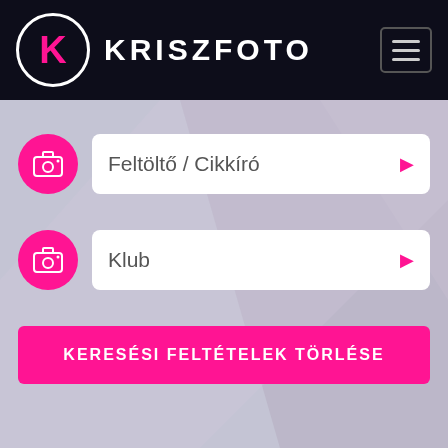[Figure (logo): KriszFoto logo: white circle with pink K letter, followed by KRISZFOTO brand name in white bold text, on dark navy background. Hamburger menu icon on the right.]
Feltöltő / Cikkíró
Klub
KERESÉSI FELTÉTELEK TÖRLÉSE